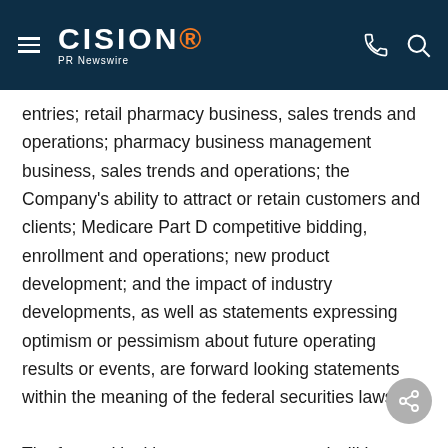CISION PR Newswire
entries; retail pharmacy business, sales trends and operations; pharmacy business management business, sales trends and operations; the Company's ability to attract or retain customers and clients; Medicare Part D competitive bidding, enrollment and operations; new product development; and the impact of industry developments, as well as statements expressing optimism or pessimism about future operating results or events, are forward looking statements within the meaning of the federal securities laws.
The forward looking statements are and will be based upon management's then current views and